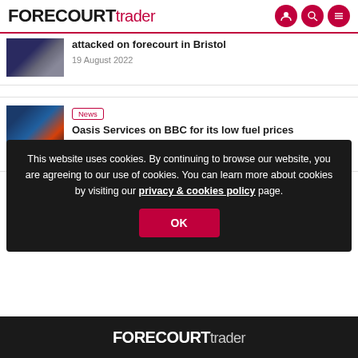FORECOURT trader
attacked on forecourt in Bristol
19 August 2022
News
Oasis Services on BBC for its low fuel prices
12 August 2022
This website uses cookies. By continuing to browse our website, you are agreeing to our use of cookies. You can learn more about cookies by visiting our privacy & cookies policy page.
OK
FORECOURT trader